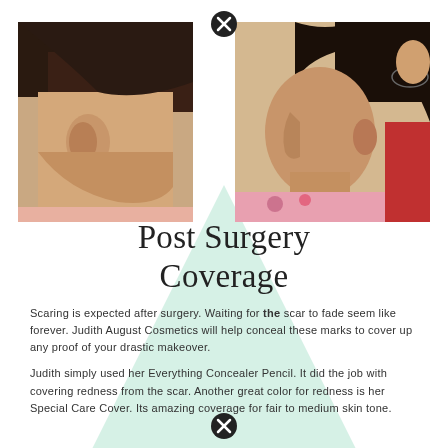[Figure (photo): Two side-by-side photos showing a woman's neck/face profile before and after surgery, with a mint green triangle shape overlapping between them. X badge icons appear at the top center and bottom center of the composition.]
Post Surgery Coverage
Scaring is expected after surgery. Waiting for the scar to fade seem like forever. Judith August Cosmetics will help conceal these marks to cover up any proof of your drastic makeover.
Judith simply used her Everything Concealer Pencil. It did the job with covering redness from the scar. Another great color for redness is her Special Care Cover. Its amazing coverage for fair to medium skin tone.